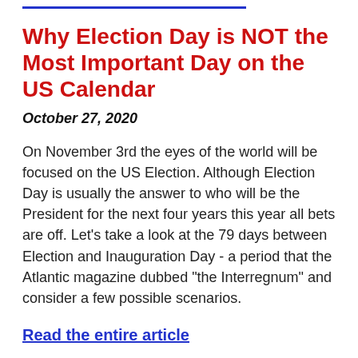Why Election Day is NOT the Most Important Day on the US Calendar
October 27, 2020
On November 3rd the eyes of the world will be focused on the US Election. Although Election Day is usually the answer to who will be the President for the next four years this year all bets are off. Let's take a look at the 79 days between Election and Inauguration Day - a period that the Atlantic magazine dubbed “the Interregnum” and consider a few possible scenarios.
Read the entire article